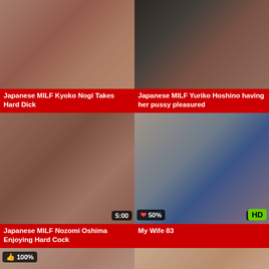[Figure (screenshot): Video thumbnail grid showing adult video content - top left video]
[Figure (screenshot): Video thumbnail grid showing adult video content - top right video]
Japanese MILF Kyoko Nogi Takes Hard Dick
Japanese MILF Yuriko Hoshino having her pussy pleasured
[Figure (screenshot): Video thumbnail - Japanese MILF Nozomi Oshima, badge: 5:00]
[Figure (screenshot): Video thumbnail - My Wife 83, badges: 50%, 5:48, HD]
Japanese MILF Nozomi Oshima Enjoying Hard Cock
My Wife 83
[Figure (screenshot): Video thumbnail bottom left, badge: 100%, 5:00]
[Figure (screenshot): Video thumbnail bottom right, badge: 5:00]